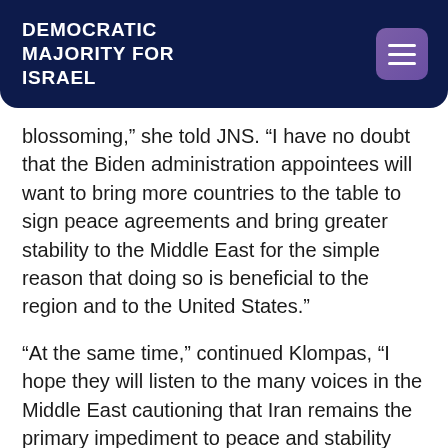DEMOCRATIC MAJORITY FOR ISRAEL
blossoming,” she told JNS. “I have no doubt that the Biden administration appointees will want to bring more countries to the table to sign peace agreements and bring greater stability to the Middle East for the simple reason that doing so is beneficial to the region and to the United States.”
“At the same time,” continued Klompas, “I hope they will listen to the many voices in the Middle East cautioning that Iran remains the primary impediment to peace and stability and should be managed accordingly.”
‘Meaningful leadership and partnership in the